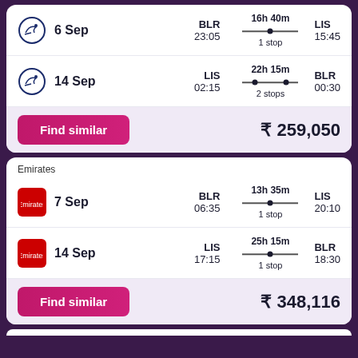| Date | From | Duration | To |
| --- | --- | --- | --- |
| 6 Sep | BLR 23:05 | 16h 40m / 1 stop | LIS 15:45 |
| 14 Sep | LIS 02:15 | 22h 15m / 2 stops | BLR 00:30 |
Find similar  ₹ 259,050
Emirates
| Date | From | Duration | To |
| --- | --- | --- | --- |
| 7 Sep | BLR 06:35 | 13h 35m / 1 stop | LIS 20:10 |
| 14 Sep | LIS 17:15 | 25h 15m / 1 stop | BLR 18:30 |
Find similar  ₹ 348,116